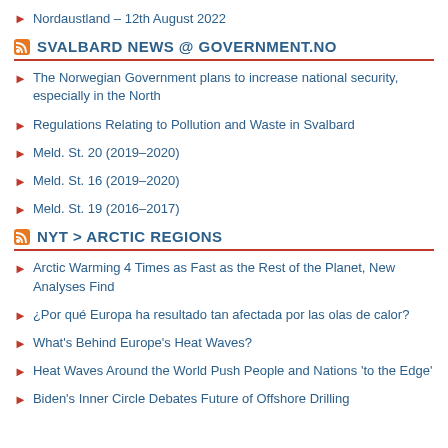Nordaustland – 12th August 2022
SVALBARD NEWS @ GOVERNMENT.NO
The Norwegian Government plans to increase national security, especially in the North
Regulations Relating to Pollution and Waste in Svalbard
Meld. St. 20 (2019–2020)
Meld. St. 16 (2019–2020)
Meld. St. 19 (2016–2017)
NYT > ARCTIC REGIONS
Arctic Warming 4 Times as Fast as the Rest of the Planet, New Analyses Find
¿Por qué Europa ha resultado tan afectada por las olas de calor?
What's Behind Europe's Heat Waves?
Heat Waves Around the World Push People and Nations 'to the Edge'
Biden's Inner Circle Debates Future of Offshore Drilling